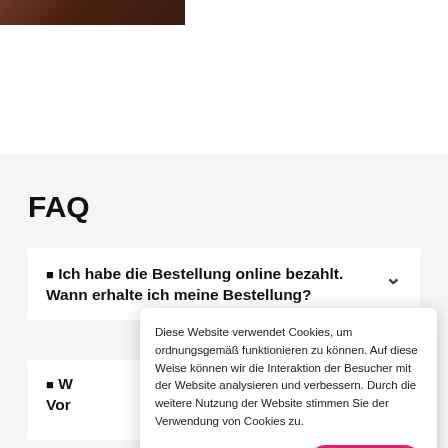[Figure (photo): Partial photo of a person in dark clothing, cropped at top of page]
FAQ
🔲 Ich habe die Bestellung online bezahlt. Wann erhalte ich meine Bestellung?
🔲 W... Vor...
Diese Website verwendet Cookies, um ordnungsgemäß funktionieren zu können. Auf diese Weise können wir die Interaktion der Besucher mit der Website analysieren und verbessern. Durch die weitere Nutzung der Website stimmen Sie der Verwendung von Cookies zu.
Akzeptieren